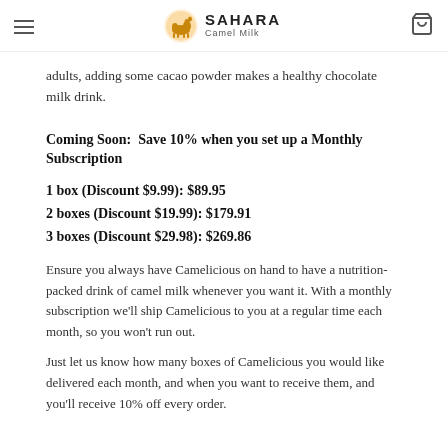SAHARA Camel Milk
adults, adding some cacao powder makes a healthy chocolate milk drink.
Coming Soon:  Save 10% when you set up a Monthly Subscription
1 box (Discount $9.99): $89.95
2 boxes (Discount $19.99): $179.91
3 boxes (Discount $29.98): $269.86
Ensure you always have Camelicious on hand to have a nutrition-packed drink of camel milk whenever you want it. With a monthly subscription we'll ship Camelicious to you at a regular time each month, so you won't run out.
Just let us know how many boxes of Camelicious you would like delivered each month, and when you want to receive them, and you'll receive 10% off every order.